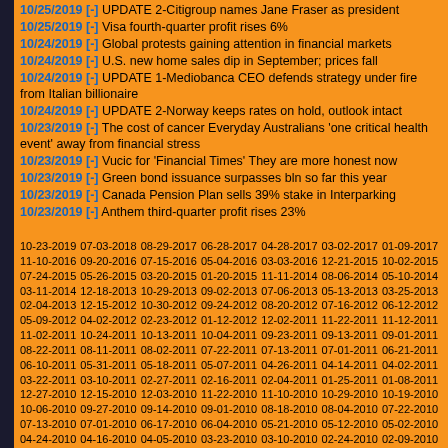10/25/2019 [-] UPDATE 2-Citigroup names Jane Fraser as president
10/25/2019 [-] Visa fourth-quarter profit rises 6%
10/24/2019 [-] Global protests gaining attention in financial markets
10/24/2019 [-] U.S. new home sales dip in September; prices fall
10/24/2019 [-] UPDATE 1-Mediobanca CEO defends strategy under fire from Italian billionaire
10/24/2019 [-] UPDATE 2-Norway keeps rates on hold, outlook intact
10/23/2019 [-] The cost of cancer Everyday Australians 'one critical health event' away from financial stress
10/23/2019 [-] Vucic for 'Financial Times' They are more honest now
10/23/2019 [-] Green bond issuance surpasses bln so far this year
10/23/2019 [-] Canada Pension Plan sells 39% stake in Interparking
10/23/2019 [-] Anthem third-quarter profit rises 23%
10-23-2019 07-03-2018 08-29-2017 06-28-2017 04-28-2017 03-02-2017 01-09-2017 11-10-2016 09-20-2016 07-15-2016 05-04-2016 03-03-2016 12-21-2015 10-02-2015 07-24-2015 05-26-2015 03-20-2015 01-20-2015 11-11-2014 08-06-2014 05-10-2014 03-11-2014 12-18-2013 10-29-2013 09-02-2013 07-06-2013 05-13-2013 03-25-2013 02-04-2013 12-15-2012 10-30-2012 09-24-2012 08-20-2012 07-16-2012 06-12-2012 05-09-2012 04-02-2012 02-23-2012 01-12-2012 12-02-2011 11-22-2011 11-12-2011 11-02-2011 10-24-2011 10-13-2011 10-04-2011 09-23-2011 09-13-2011 09-01-2011 08-22-2011 08-11-2011 08-02-2011 07-22-2011 07-13-2011 07-01-2011 06-21-2011 06-10-2011 05-31-2011 05-18-2011 05-07-2011 04-26-2011 04-14-2011 04-02-2011 03-22-2011 03-10-2011 02-27-2011 02-16-2011 02-04-2011 01-25-2011 01-08-2011 12-27-2010 12-15-2010 12-03-2010 11-22-2010 11-10-2010 10-29-2010 10-19-2010 10-06-2010 09-27-2010 09-14-2010 09-01-2010 08-18-2010 08-04-2010 07-22-2010 07-13-2010 07-01-2010 06-17-2010 06-04-2010 05-21-2010 05-12-2010 05-02-2010 04-24-2010 04-16-2010 04-05-2010 03-23-2010 03-10-2010 02-24-2010 02-09-2010 01-26-2010 01-10-2010 12-20-2009 12-04-2009 11-19-2009 11-07-2009 10-27-2009 10-15-2009 10-02-2009 09-22-2009 09-11-2009 08-28-2009 08-18-2009 08-07-2009